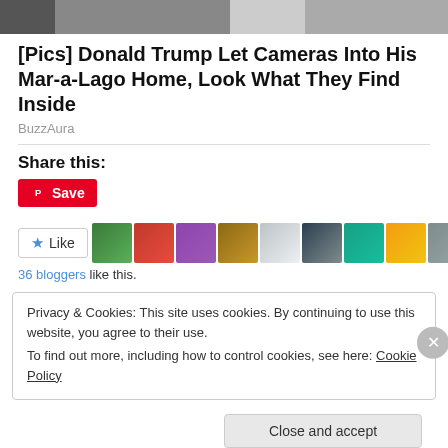[Figure (photo): Partial cropped photo visible at top of page, dark tones, appears to be a person in dark clothing]
[Pics] Donald Trump Let Cameras Into His Mar-a-Lago Home, Look What They Find Inside
BuzzAura
Share this:
[Figure (other): Pinterest Save button (red background with Pinterest icon and 'Save' text)]
[Figure (other): Like button with star icon, followed by row of 11 blogger avatar thumbnails]
36 bloggers like this.
Privacy & Cookies: This site uses cookies. By continuing to use this website, you agree to their use.
To find out more, including how to control cookies, see here: Cookie Policy
Close and accept